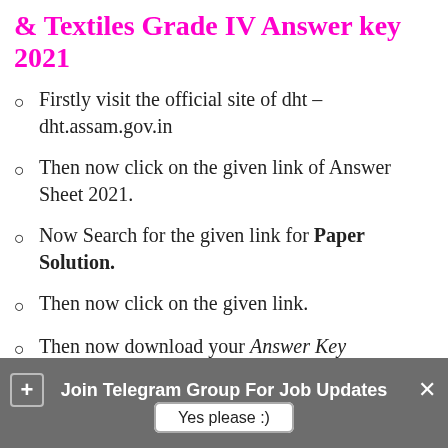& Textiles Grade IV Answer key 2021
Firstly visit the official site of dht – dht.assam.gov.in
Then now click on the given link of Answer Sheet 2021.
Now Search for the given link for Paper Solution.
Then now click on the given link.
Then now download your Answer Key
Join Telegram Group For Job Updates | Yes please :)